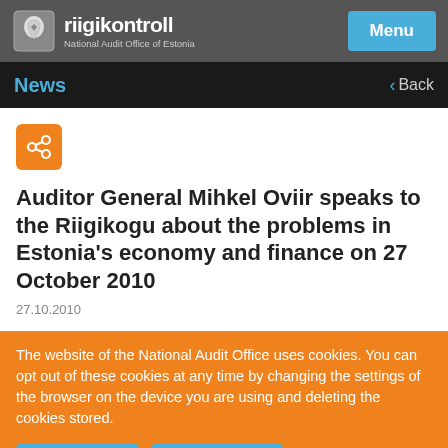riigikontroll — National Audit Office of Estonia
News   Back
[Figure (logo): Share icon button (orange rounded square with share symbol)]
Auditor General Mihkel Oviir speaks to the Riigikogu about the problems in Estonia's economy and finance on 27 October 2010
27.10.2010
The website of the National Audit Office uses cookies. You can opt out of these cookies at any time by changing the settings of the browser on the device you are using and deleting the cookies stored.
Learn more   I understand